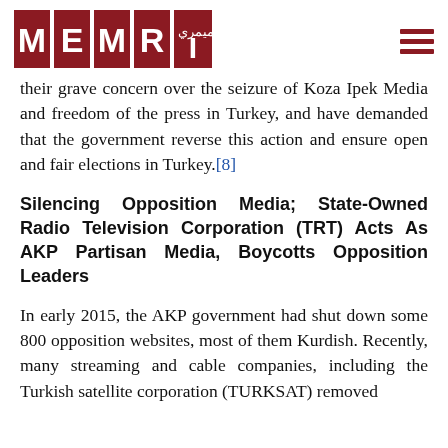MEMRI
their grave concern over the seizure of Koza Ipek Media and freedom of the press in Turkey, and have demanded that the government reverse this action and ensure open and fair elections in Turkey.[8]
Silencing Opposition Media; State-Owned Radio Television Corporation (TRT) Acts As AKP Partisan Media, Boycotts Opposition Leaders
In early 2015, the AKP government had shut down some 800 opposition websites, most of them Kurdish. Recently, many streaming and cable companies, including the Turkish satellite corporation (TURKSAT) removed